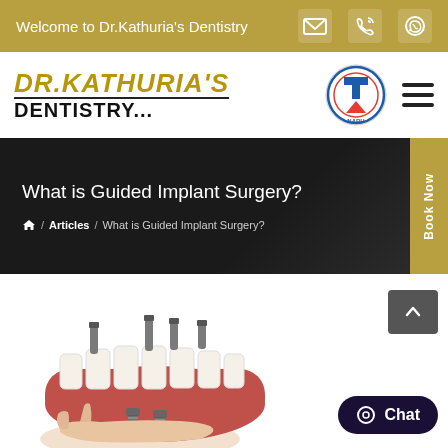Welcome to Dr.Kathuria's Dentistry
[Figure (logo): DR.KATHURIA'S DENTISTRY logo with NABH certification badge and hamburger menu]
What is Guided Implant Surgery?
🏠 / Articles / What is Guided Implant Surgery?
[Figure (illustration): Medical illustration of dental implants being placed in a jaw model, showing multiple implants with screws and a full set of teeth on a gum base, held by a hand.]
Chat